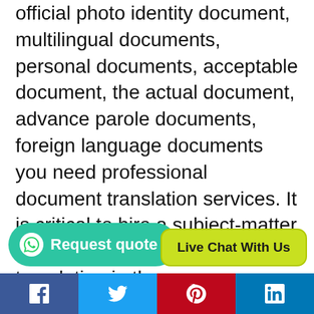official photo identity document, multilingual documents, personal documents, acceptable document, the actual document, advance parole documents, foreign language documents you need professional document translation services. It is critical to hire a subject-matter expert to receive an accurate translation in the source language.
If you need academic work translated, for example, you'll want to hire a professional translation. Because each university's [requirements are] distinct. In the [same way,] legal and medical translations into a foreign [language...]